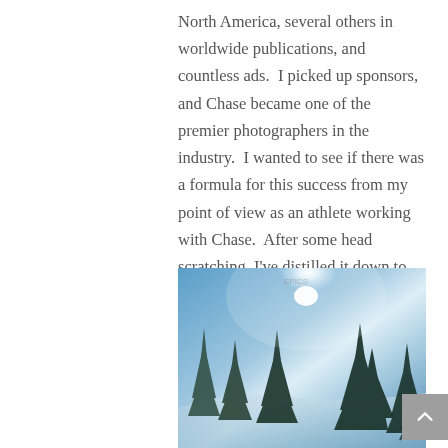North America, several others in worldwide publications, and countless ads.  I picked up sponsors, and Chase became one of the premier photographers in the industry.  I wanted to see if there was a formula for this success from my point of view as an athlete working with Chase.  After some head scratching, I've distilled it down to these six factors which, when combined, make a photographer an unstoppable force...
[Figure (photo): Winter outdoor scene with tall evergreen trees silhouetted against a bright, hazy blue sky with a sun glare/lens flare near the top center. Snow-covered mountainous landscape. A skier figure visible at the lower right edge.]